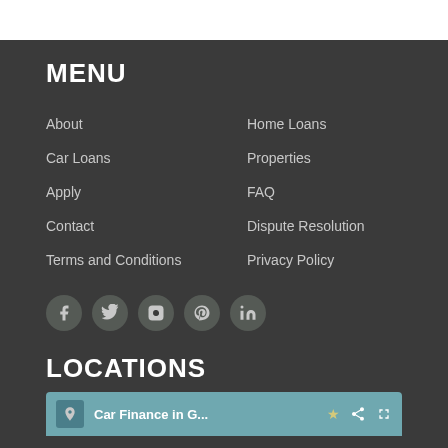MENU
About
Home Loans
Car Loans
Properties
Apply
FAQ
Contact
Dispute Resolution
Terms and Conditions
Privacy Policy
[Figure (other): Social media icons row: Facebook, Twitter, Instagram, Pinterest, LinkedIn]
LOCATIONS
Car Finance in G...